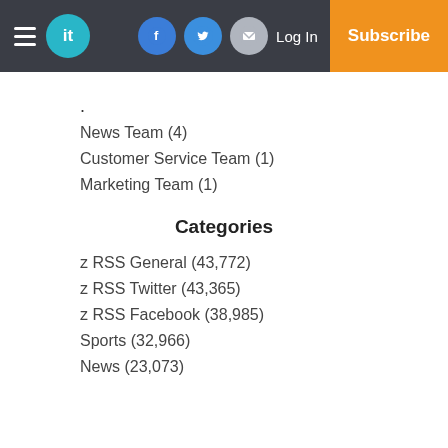it | Log In | Subscribe (navigation bar with Facebook, Twitter, Email icons)
·
News Team (4)
Customer Service Team (1)
Marketing Team (1)
Categories
z RSS General (43,772)
z RSS Twitter (43,365)
z RSS Facebook (38,985)
Sports (32,966)
News (23,073)